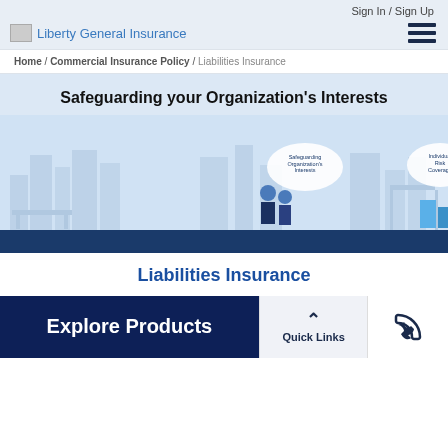Sign In / Sign Up
[Figure (logo): Liberty General Insurance logo with blue text]
Home / Commercial Insurance Policy / Liabilities Insurance
Safeguarding your Organization's Interests
[Figure (illustration): Illustration showing three groups: Safeguarding Organization's Interests (business people), Individual Risk Coverage (factory/building), Protect your Employees (two people in yellow and blue)]
Liabilities Insurance
Explore Products
Quick Links
[Figure (other): Phone icon for contact]